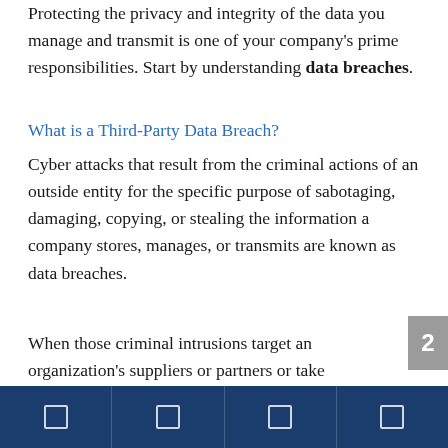Protecting the privacy and integrity of the data you manage and transmit is one of your company's prime responsibilities. Start by understanding data breaches.
What is a Third-Party Data Breach?
Cyber attacks that result from the criminal actions of an outside entity for the specific purpose of sabotaging, damaging, copying, or stealing the information a company stores, manages, or transmits are known as data breaches.
When those criminal intrusions target an organization's suppliers or partners or take advantage of data stolen during a previous incident, they are known as third-party data breaches.
Protecting against a third-party data breach is
2